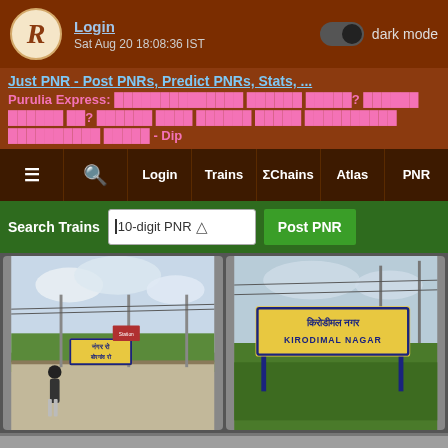Login | Sat Aug 20 18:08:36 IST | dark mode toggle
Just PNR - Post PNRs, Predict PNRs, Stats, ...
Purulia Express: [Hindi text] - Dip
≡ | 🔍 | Login | Trains | ΣChains | Atlas | PNR
Search Trains | 10-digit PNR | Post PNR
[Figure (photo): Station platform photo showing a person walking and a yellow station name board in Hindi]
[Figure (photo): Photo of Kirodimal Nagar station name board in Hindi and English reading KIRODIMAL NAGAR]
BRD/Bhandara Road to KDTR/Kirodimalnagar
8 Trains / 0 ΣChains
Scroll to